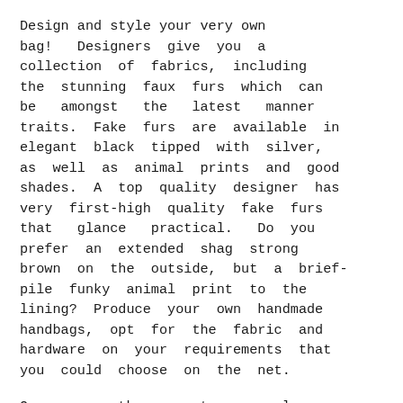Design and style your very own bag!  Designers give you a collection of fabrics, including the stunning faux furs which can be amongst the latest manner traits. Fake furs are available in elegant black tipped with silver, as well as animal prints and good shades. A top quality designer has very first-high quality fake furs that glance practical.  Do you prefer an extended shag strong brown on the outside, but a brief-pile funky animal print to the lining? Produce your own handmade handbags, opt for the fabric and hardware on your requirements that you could choose on the net.
One among the newest seasonal